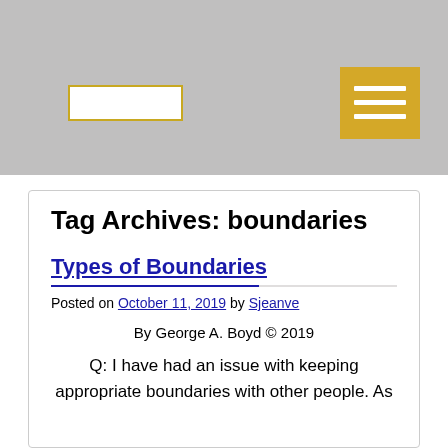[Figure (screenshot): Website header bar with grey background, a white search input box with gold border on the left, and a gold hamburger menu button on the right]
Tag Archives: boundaries
Types of Boundaries
Posted on October 11, 2019 by Sjeanve
By George A. Boyd © 2019
Q: I have had an issue with keeping appropriate boundaries with other people. As